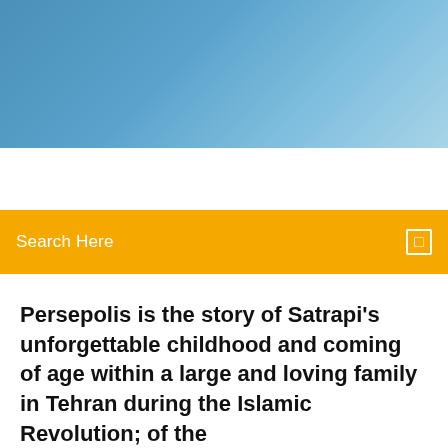[Figure (photo): Blue sky gradient header banner image]
Search Here
Persepolis is the story of Satrapi's unforgettable childhood and coming of age within a large and loving family in Tehran during the Islamic Revolution; of the
Persepolis is a completed autobiographical series of bande dessinées (French comics) by The Literature of Propaganda (1st ed.). ^ "Why I Wrote Persepolis" ( PDF). ^ "Why I Wrote Persepolis" (PDF). greatgraphicnovels.files.wordpress.com.   |
8 Comments